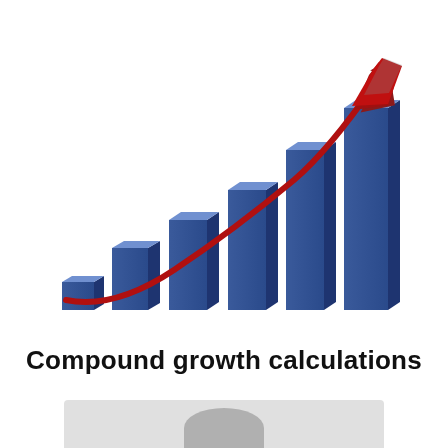[Figure (bar-chart): 3D-style bar chart showing 6 bars of increasing height left to right, with a curved red arrow sweeping upward from lower left to upper right, representing compound growth.]
Compound growth calculations
[Figure (photo): Partial view of a person (head/shoulders) at the bottom of the page, cut off]